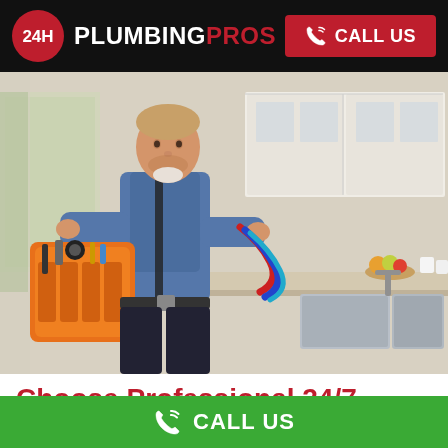[Figure (logo): 24H Plumbing Pros logo on black header bar with a red circle containing '24H' text and white/red brand name]
[Figure (photo): A male plumber in a blue shirt carrying an orange tool bag and colored hoses, standing in a modern white kitchen with a stainless steel sink]
Choose Professional 24/7 Emergency Plumbing in
[Figure (infographic): Green bottom bar with white phone icon and CALL US text]